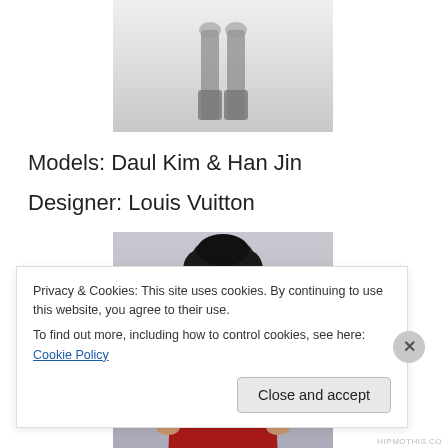[Figure (photo): Cropped top portion of a fashion photo showing model legs and boots on a runway, grey/white background]
Models: Daul Kim & Han Jin
Designer: Louis Vuitton
[Figure (photo): Asian female model wearing a red off-shoulder belted coat with black buttons, dark curly hair, grey background]
Privacy & Cookies: This site uses cookies. By continuing to use this website, you agree to their use.
To find out more, including how to control cookies, see here: Cookie Policy